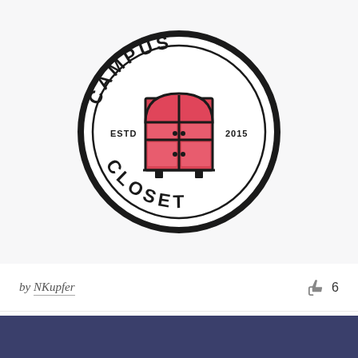[Figure (logo): Campus Closet circular logo. A thick black circle border contains the text 'CAMPUS' arched along the top and 'CLOSET' arched along the bottom. In the center is a red two-door wardrobe/armoire illustration with red panels and small dot handles. On the left side inside the circle reads 'ESTD' and on the right '2015'.]
by NKupfer
6